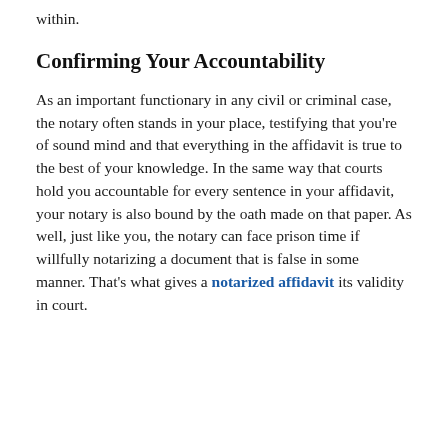within.
Confirming Your Accountability
As an important functionary in any civil or criminal case, the notary often stands in your place, testifying that you're of sound mind and that everything in the affidavit is true to the best of your knowledge. In the same way that courts hold you accountable for every sentence in your affidavit, your notary is also bound by the oath made on that paper. As well, just like you, the notary can face prison time if willfully notarizing a document that is false in some manner. That's what gives a notarized affidavit its validity in court.